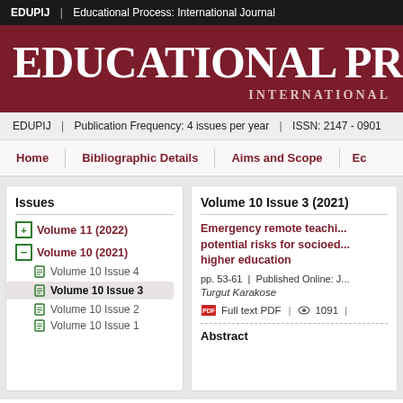EDUPIJ | Educational Process: International Journal
EDUCATIONAL PROC INTERNATIONAL
EDUPIJ | Publication Frequency: 4 issues per year | ISSN: 2147 - 0901
Home | Bibliographic Details | Aims and Scope | Ec
Issues
+ Volume 11 (2022)
- Volume 10 (2021)
Volume 10 Issue 4
Volume 10 Issue 3
Volume 10 Issue 2
Volume 10 Issue 1
Volume 10 Issue 3 (2021)
Emergency remote teachi... potential risks for socioed... higher education
pp. 53-61 | Published Online: J...
Turgut Karakose
Full text PDF | 1091 |
Abstract